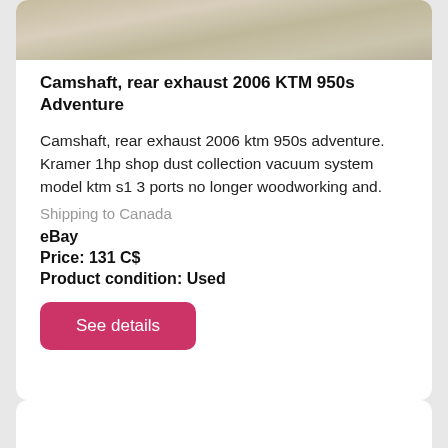[Figure (photo): Partial product photo showing a beige/tan colored surface, top portion of a listing card image]
Camshaft, rear exhaust 2006 KTM 950s Adventure
Camshaft, rear exhaust 2006 ktm 950s adventure. Kramer 1hp shop dust collection vacuum system model ktm s1 3 ports no longer woodworking and.
Shipping to Canada
eBay
Price: 131 C$
Product condition: Used
See details